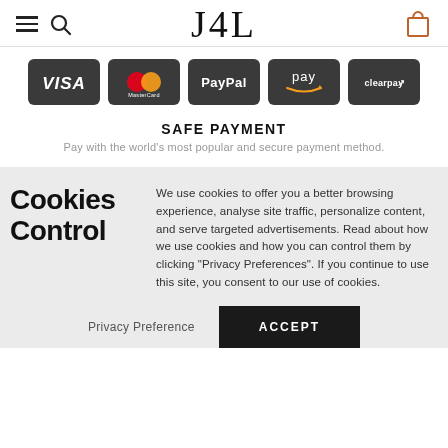J4L
[Figure (logo): Payment method logos: VISA, MasterCard, PayPal, Amazon Pay, Clearpay — all on dark rounded badges]
SAFE PAYMENT
Pay with the world's most popular and secure payment method.
Cookies Control
We use cookies to offer you a better browsing experience, analyse site traffic, personalize content, and serve targeted advertisements. Read about how we use cookies and how you can control them by clicking "Privacy Preferences". If you continue to use this site, you consent to our use of cookies.
Privacy Preference   ACCEPT